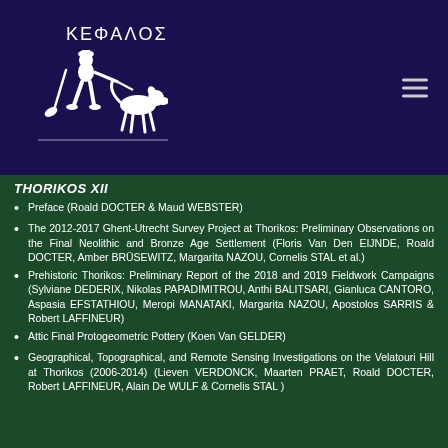[Figure (logo): Kephalos logo: white figure of a person leading a dog, with Greek text KΕΦΑΛΟΣ above, on dark navy background]
THORIKOS XII
Preface (Roald DOCTER & Maud WEBSTER)
The 2012-2017 Ghent-Utrecht Survey Project at Thorikos: Preliminary Observations on the Final Neolithic and Bronze Age Settlement (Floris Van Den EIJNDE, Roald DOCTER, Amber BRÜSEWITZ, Margarita NAZOU, Cornelis STAL et al.)
Prehistoric Thorikos: Preliminary Report of the 2018 and 2019 Fieldwork Campaigns (Sylviane DEDERIX, Nikolas PAPADIMITROU, Anthi BALITSARI, Gianluca CANTORO, Aspasia EFSTATHIOU, Meropi MANATAKI, Margarita NAZOU, Apostolos SARRIS & Robert LAFFINEUR)
Attic Final Protogeometric Pottery (Koen Van GELDER)
Geographical, Topographical, and Remote Sensing Investigations on the Velatouri Hill at Thorikos (2006-2014) (Lieven VERDONCK, Maarten PRAET, Roald DOCTER, Robert LAFFINEUR, Alain De WULF & Cornelis STAL )